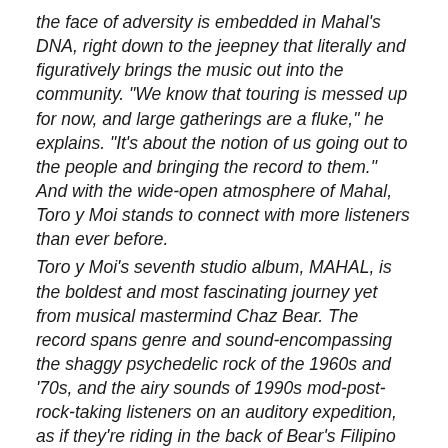the face of adversity is embedded in Mahal's DNA, right down to the jeepney that literally and figuratively brings the music out into the community. "We know that touring is messed up for now, and large gatherings are a fluke," he explains. "It's about the notion of us going out to the people and bringing the record to them." And with the wide-open atmosphere of Mahal, Toro y Moi stands to connect with more listeners than ever before.
Toro y Moi's seventh studio album, MAHAL, is the boldest and most fascinating journey yet from musical mastermind Chaz Bear. The record spans genre and sound-encompassing the shaggy psychedelic rock of the 1960s and '70s, and the airy sounds of 1990s mod-post-rock-taking listeners on an auditory expedition, as if they're riding in the back of Bear's Filipino jeepney that adorns t[Chat with us]er. But Mahal is also an unmistakably [obscured] experience, calling back to previous [obscured] charting a new path forward in a way that only Bear